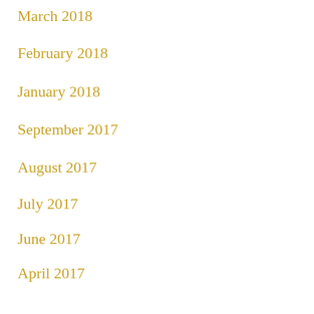March 2018
February 2018
January 2018
September 2017
August 2017
July 2017
June 2017
April 2017
Categories
All
RSS Feed